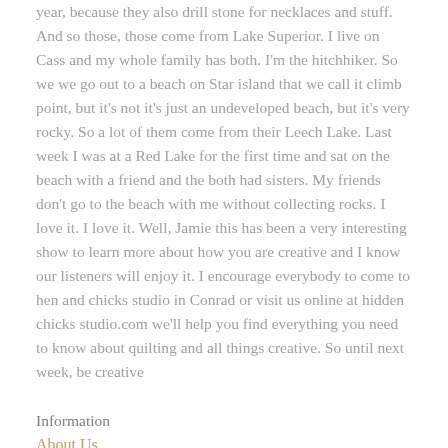year, because they also drill stone for necklaces and stuff. And so those, those come from Lake Superior. I live on Cass and my whole family has both. I'm the hitchhiker. So we we go out to a beach on Star island that we call it climb point, but it's not it's just an undeveloped beach, but it's very rocky. So a lot of them come from their Leech Lake. Last week I was at a Red Lake for the first time and sat on the beach with a friend and the both had sisters. My friends don't go to the beach with me without collecting rocks. I love it. I love it. Well, Jamie this has been a very interesting show to learn more about how you are creative and I know our listeners will enjoy it. I encourage everybody to come to hen and chicks studio in Conrad or visit us online at hidden chicks studio.com we'll help you find everything you need to know about quilting and all things creative. So until next week, be creative
Information
About Us